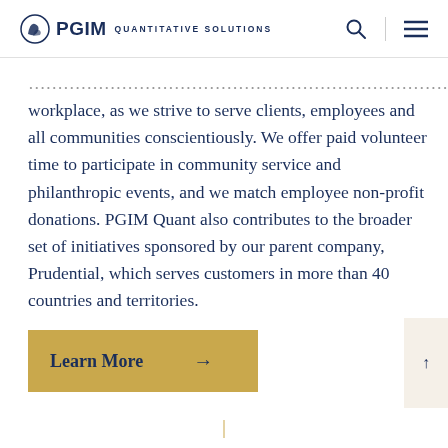PGIM QUANTITATIVE SOLUTIONS
workplace, as we strive to serve clients, employees and all communities conscientiously. We offer paid volunteer time to participate in community service and philanthropic events, and we match employee non-profit donations. PGIM Quant also contributes to the broader set of initiatives sponsored by our parent company, Prudential, which serves customers in more than 40 countries and territories.
Learn More →